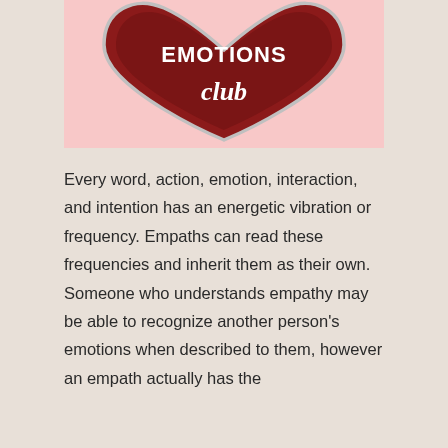[Figure (illustration): A heart-shaped enamel pin/badge with dark red/maroon color on a pink background. The badge reads 'EMOTIONS club' in white stylized lettering with a silver border.]
Every word, action, emotion, interaction, and intention has an energetic vibration or frequency. Empaths can read these frequencies and inherit them as their own. Someone who understands empathy may be able to recognize another person's emotions when described to them, however an empath actually has the